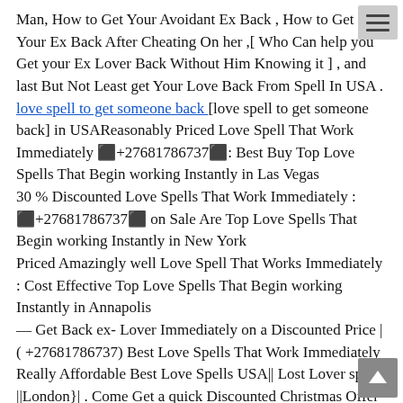Man, How to Get Your Avoidant Ex Back , How to Get Your Ex Back After Cheating On her ,[ Who Can help you Get your Ex Lover Back Without Him Knowing it ] , and last But Not Least get Your Love Back From Spell In USA . love spell to get someone back [love spell to get someone back] in USAReasonably Priced Love Spell That Work Immediately 🔷+27681786737🔷: Best Buy Top Love Spells That Begin working Instantly in Las Vegas
30 % Discounted Love Spells That Work Immediately : 🔷+27681786737🔷 on Sale Are Top Love Spells That Begin working Instantly in New York
Priced Amazingly well Love Spell That Works Immediately : Cost Effective Top Love Spells That Begin working Instantly in Annapolis
— Get Back ex- Lover Immediately on a Discounted Price |( +27681786737) Best Love Spells That Work Immediately Really Affordable Best Love Spells USA|| Lost Lover spells ||London}| . Come Get a quick Discounted Christmas Offer on all Love Spell Purchases Made .